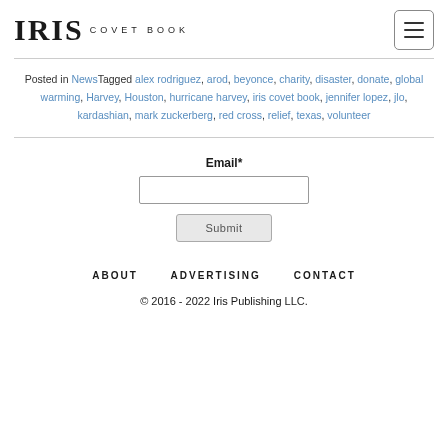IRIS COVET BOOK
Posted in NewsTagged alex rodriguez, arod, beyonce, charity, disaster, donate, global warming, Harvey, Houston, hurricane harvey, iris covet book, jennifer lopez, jlo, kardashian, mark zuckerberg, red cross, relief, texas, volunteer
Email* [input field] Submit
ABOUT   ADVERTISING   CONTACT
© 2016 - 2022 Iris Publishing LLC.